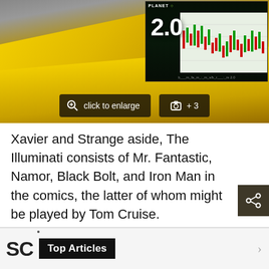[Figure (photo): Yellow sports car roof detail with an overlaid thumbnail of a trading screen showing '2.0', with 'click to enlarge' and '+3' photo buttons overlaid at the bottom.]
Xavier and Strange aside, The Illuminati consists of Mr. Fantastic, Namor, Black Bolt, and Iron Man in the comics, the latter of whom might be played by Tom Cruise.
Top Articles